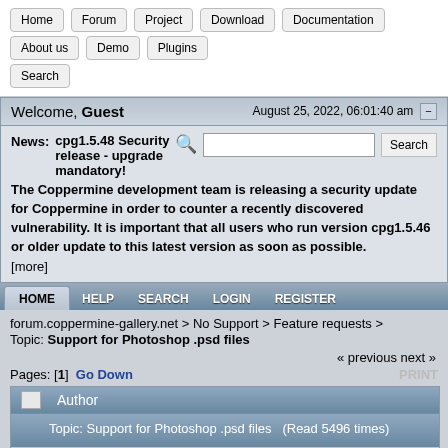Home | Forum | Project | Download | Documentation | About us | Demo | Plugins | Search
Welcome, Guest — August 25, 2022, 06:01:40 am
News: cpg1.5.48 Security release - upgrade mandatory! The Coppermine development team is releasing a security update for Coppermine in order to counter a recently discovered vulnerability. It is important that all users who run version cpg1.5.46 or older update to this latest version as soon as possible. [more]
HOME | HELP | SEARCH | LOGIN | REGISTER
forum.coppermine-gallery.net > No Support > Feature requests >
Topic: Support for Photoshop .psd files
« previous next »
Pages: [1]  Go Down  PRINT
| Author | Topic: Support for Photoshop .psd files  (Read 5496 times) |
| --- | --- |
| 0 Members and 1 Guest are viewing this topic. |
| St. Anger | Support for |
0 Members and 1 Guest are viewing this topic.
St. Anger
Support for